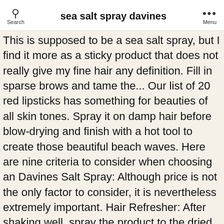sea salt spray davines
This is supposed to be a sea salt spray, but I find it more as a sticky product that does not really give my fine hair any definition. Fill in sparse brows and tame the... Our list of 20 red lipsticks has something for beauties of all skin tones. Spray it on damp hair before blow-drying and finish with a hot tool to create those beautiful beach waves. Here are nine criteria to consider when choosing an Davines Salt Spray: Although price is not the only factor to consider, it is nevertheless extremely important. Hair Refresher: After shaking well, spray the product to the dried hair from a distance of several inches in small amounts. Before you make a purchase for Davines Salt Spray, you want to know that the company you are dealing with is legitimate and that others trust the company enough to make a purchase. MULTI-PURPOSE – Part texturizing spray, part sheer hold spray with oil-absorbing properties to refresh and extend your style. Davines This is a Sea Salt Spray for Unisex, 8.45 Ounce